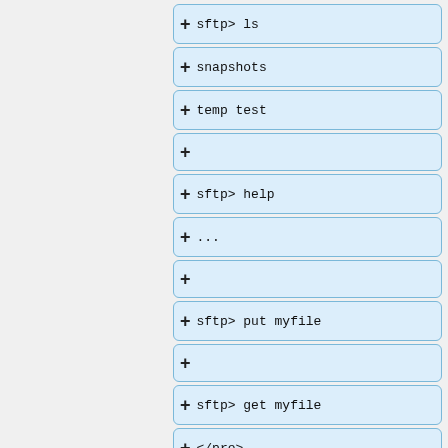sftp> ls
snapshots
temp test
sftp> help
...
sftp> put myfile
sftp> get myfile
</pre>
Further details on the usage of the SFTP command line client can be found on the [https://man.openbs